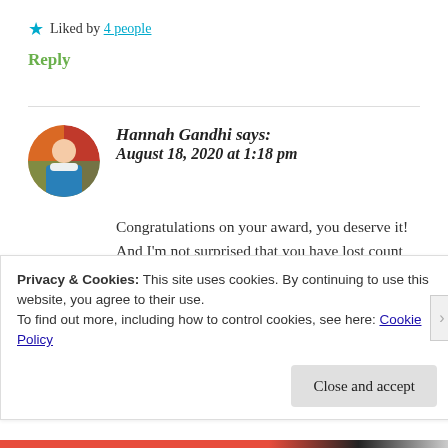★ Liked by 4 people
Reply
Hannah Gandhi says: August 18, 2020 at 1:18 pm
Congratulations on your award, you deserve it! And I'm not surprised that you have lost count about the number of awards you've been nominated for...your blog is amazing and a true
Privacy & Cookies: This site uses cookies. By continuing to use this website, you agree to their use.
To find out more, including how to control cookies, see here: Cookie Policy
Close and accept